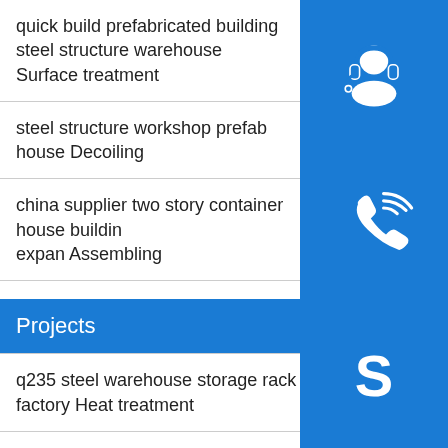quick build prefabricated building steel structure warehouse Surface treatment
steel structure workshop prefab house Decoiling
china supplier two story container house building expan Assembling
Projects
q235 steel warehouse storage rack metal china factory Heat treatment
outdoor hard steel pole car roof tent for promotion Machining